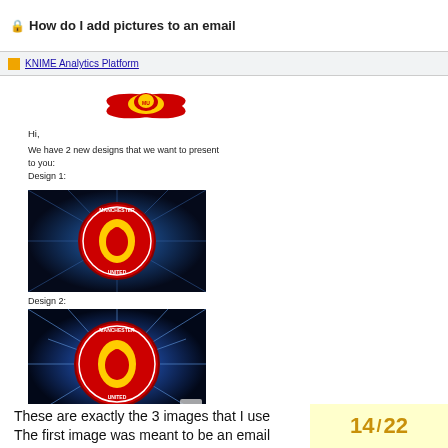🔒 How do I add pictures to an email
KNIME Analytics Platform
[Figure (logo): Manchester United FC logo / crest in red and yellow on dark background, positioned at top of email]
Hi,
We have 2 new designs that we want to present to you:
Design 1:
[Figure (photo): Manchester United logo/crest on dark blue starburst background - Design 1]
Design 2:
[Figure (photo): Manchester United logo/crest on dark blue starburst background - Design 2, with pencil/edit icon in bottom right corner]
These are exactly the 3 images that I use
The first image was meant to be an email
14 / 22